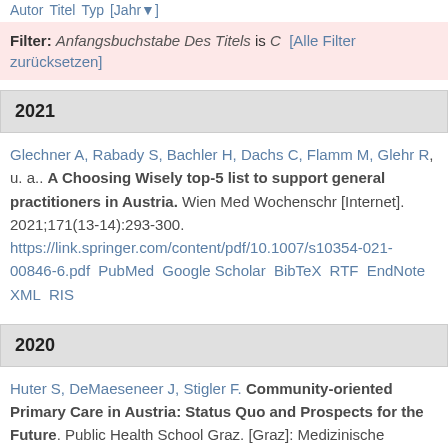Autor Titel Typ [Jahr]
Filter: Anfangsbuchstabe Des Titels is C  [Alle Filter zurücksetzen]
2021
Glechner A, Rabady S, Bachler H, Dachs C, Flamm M, Glehr R, u. a.. A Choosing Wisely top-5 list to support general practitioners in Austria. Wien Med Wochenschr [Internet]. 2021;171(13-14):293-300. https://link.springer.com/content/pdf/10.1007/s10354-021-00846-6.pdf PubMed Google Scholar BibTeX RTF EndNote XML RIS
2020
Huter S, DeMaeseneer J, Stigler F. Community-oriented Primary Care in Austria: Status Quo and Prospects for the Future. Public Health School Graz. [Graz]: Medizinische Universität Graz; 2020. S. 67. Google Scholar BibTeX RTF